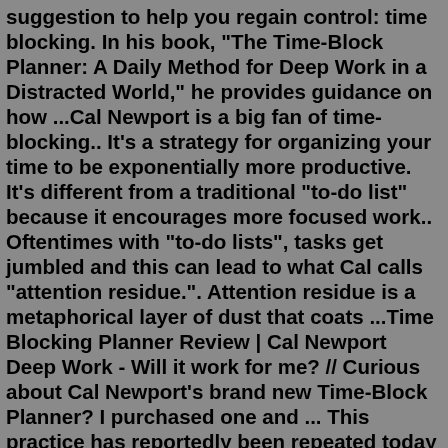suggestion to help you regain control: time blocking. In his book, "The Time-Block Planner: A Daily Method for Deep Work in a Distracted World," he provides guidance on how ...Cal Newport is a big fan of time-blocking.. It's a strategy for organizing your time to be exponentially more productive. It's different from a traditional "to-do list" because it encourages more focused work.. Oftentimes with "to-do lists", tasks get jumbled and this can lead to what Cal calls "attention residue.". Attention residue is a metaphorical layer of dust that coats ...Time Blocking Planner Review | Cal Newport Deep Work - Will it work for me? // Curious about Cal Newport's brand new Time-Block Planner? I purchased one and ... This practice has reportedly been repeated today by people such as Elon Musk, Bill Gates, and Cal Newport, just to name a few. So, what exactly is time blocking and how might it be helpful in construction? The whole concept behind it is you give every hour of the day an activity. Time blockers, as Newport calls them, give every minute of a day ...Giving every hour